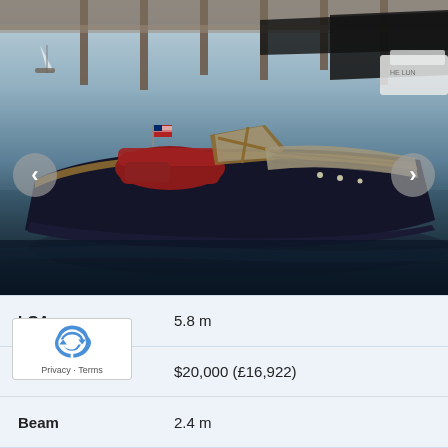[Figure (photo): A classic wooden speedboat with dark navy hull and red interior seating, moored at a marina dock. Other boats visible in background. Carousel navigation arrows on left and right sides.]
| LOA | 5.8 m |
| P | $20,000 (£16,922) |
| Beam | 2.4 m |